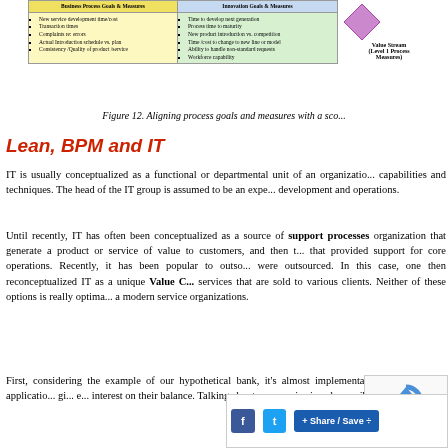[Figure (table-as-image): Partial view of a scorecard table with Business Process Goals & Measures and Innovation Goals & Measures columns, plus a purple Value Stream diamond shape and label (Level 1 Process Measures)]
Figure 12. Aligning process goals and measures with a sco...
Lean, BPM and IT
IT is usually conceptualized as a functional or departmental unit of an organization, capabilities and techniques. The head of the IT group is assumed to be an expe... development and operations.
Until recently, IT has often been conceptualized as a source of support processes organization that generate a product or service of value to customers, and then t... that provided support for core operations. Recently, it has been popular to outso... were outsourced. In this case, one then reconceptualized IT as a unique Value C... services that are sold to various clients. Neither of these options is really optima... a modern service organizations.
First, considering the example of our hypothetical bank, it's almost implementation as a software applicatio... gi... e... interest on their balance. Talking about su... service is only possible because...